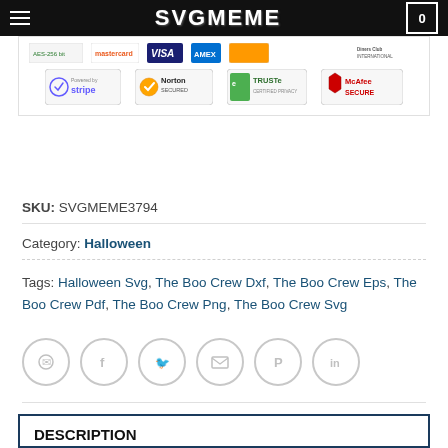SVGMEME
[Figure (screenshot): Payment badges row: AES-256 bit, Mastercard, Visa, American Express, and Diners Club International logos, followed by security badges: Powered by Stripe, Norton Secured, TRUSTe Certified Privacy, McAfee Secure]
SKU: SVGMEME3794
Category: Halloween
Tags: Halloween Svg, The Boo Crew Dxf, The Boo Crew Eps, The Boo Crew Pdf, The Boo Crew Png, The Boo Crew Svg
[Figure (other): Row of social share icons: WhatsApp, Facebook, Twitter, Email, Pinterest, LinkedIn — all in grey circle outlines]
DESCRIPTION